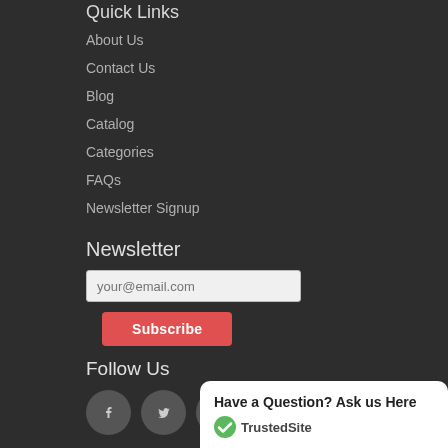Quick Links
About Us
Contact Us
Blog
Catalog
Categories
FAQs
Newsletter Signup
Newsletter
your@email.com
Subscribe
Follow Us
[Figure (illustration): Social media icons: Facebook, Twitter, Pinterest]
Have a Question? Ask us Here
[Figure (logo): TrustedSite logo with green checkmark]